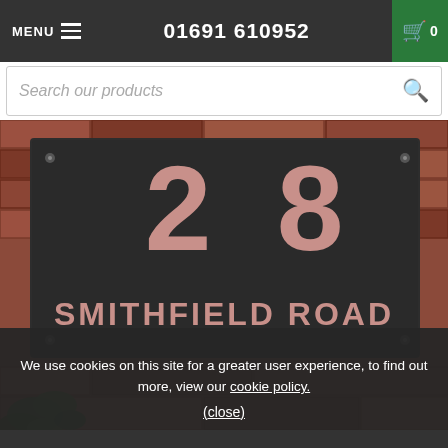MENU  01691 610952  0
Search our products
[Figure (photo): A dark charcoal house sign mounted on a red brick wall displaying the number '28' and text 'SMITHFIELD ROAD' in a pink/rose color. Brick wall background with some foliage visible at the bottom left.]
We use cookies on this site for a greater user experience, to find out more, view our cookie policy.
(close)